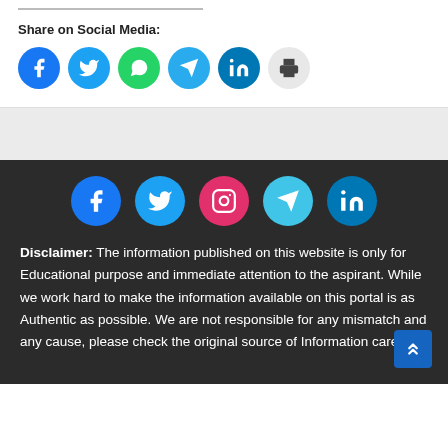Share on Social Media:
[Figure (infographic): Row of six social media share buttons: Facebook (blue), Twitter (cyan), WhatsApp (green), Telegram (blue), LinkedIn (dark blue), Print (gray)]
[Figure (infographic): Row of five social media icons on dark background: Facebook (blue), Twitter (cyan), Instagram (pink/magenta), Telegram (light blue), LinkedIn (blue)]
Disclaimer: The information published on this website is only for Educational purpose and immediate attention to the aspirant. While we work hard to make the information available on this portal is as Authentic as possible. We are not responsible for any mismatch and any cause, please check the original source of Information carefully.